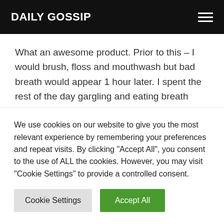DAILY GOSSIP
What an awesome product. Prior to this – I would brush, floss and mouthwash but bad breath would appear 1 hour later. I spent the rest of the day gargling and eating breath mints – didn't last long. My first try with this product and my breath was fresh from 8 am
We use cookies on our website to give you the most relevant experience by remembering your preferences and repeat visits. By clicking "Accept All", you consent to the use of ALL the cookies. However, you may visit "Cookie Settings" to provide a controlled consent.